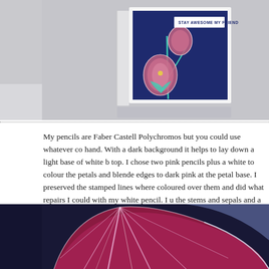[Figure (photo): A handmade greeting card with dark navy blue background featuring stamped pink flowers/poppies with teal stems, displayed at an angle against a light grey background. A white banner reads 'STAY AWESOME MY FRIEND'.]
My pencils are Faber Castell Polychromos but you could use whatever co hand. With a dark background it helps to lay down a light base of white b top. I chose two pink pencils plus a white to colour the petals and blende edges to dark pink at the petal base. I preserved the stamped lines where coloured over them and did what repairs I could with my white pencil. I u the stems and sepals and a tiny spot of yellow in the centre of the lowest
[Figure (photo): Close-up macro photograph of a flower petal with deep pink/magenta coloring and white veining/outline lines on a dark navy blue background, showing detailed colored pencil artwork.]